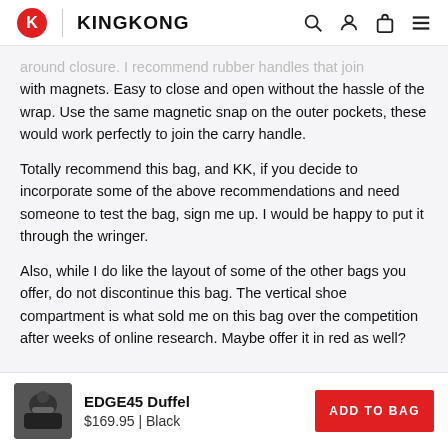KINGKONG
around closure. I recommend rubber handles that join with magnets. Easy to close and open without the hassle of the wrap. Use the same magnetic snap on the outer pockets, these would work perfectly to join the carry handle.
Totally recommend this bag, and KK, if you decide to incorporate some of the above recommendations and need someone to test the bag, sign me up. I would be happy to put it through the wringer.
Also, while I do like the layout of some of the other bags you offer, do not discontinue this bag. The vertical shoe compartment is what sold me on this bag over the competition after weeks of online research. Maybe offer it in red as well?
[Figure (photo): Product thumbnail showing a person with the EDGE45 Duffel bag in black]
EDGE45 Duffel
$169.95 | Black
ADD TO BAG